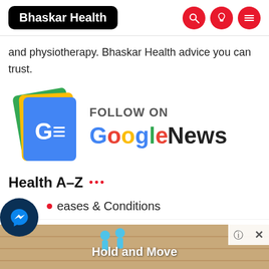Bhaskar Health
and physiotherapy. Bhaskar Health advice you can trust.
[Figure (logo): Follow on Google News banner with Google News logo icon]
Health A-Z
Diseases & Conditions
Tests & Procedures
[Figure (infographic): Hold and Move advertisement banner at bottom of page with two blue figures]